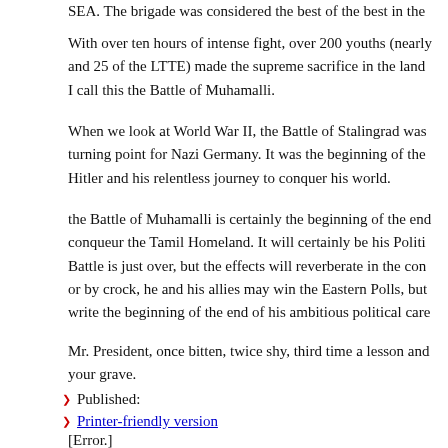SEA. The brigade was considered the best of the best in the
With over ten hours of intense fight, over 200 youths (nearly and 25 of the LTTE) made the supreme sacrifice in the land I call this the Battle of Muhamalli.
When we look at World War II, the Battle of Stalingrad was turning point for Nazi Germany. It was the beginning of the Hitler and his relentless journey to conquer his world.
the Battle of Muhamalli is certainly the beginning of the end conqueur the Tamil Homeland. It will certainly be his Politi Battle is just over, but the effects will reverberate in the con or by crock, he and his allies may win the Eastern Polls, but write the beginning of the end of his ambitious political care
Mr. President, once bitten, twice shy, third time a lesson and your grave.
Published:
Printer-friendly version
[Error.]